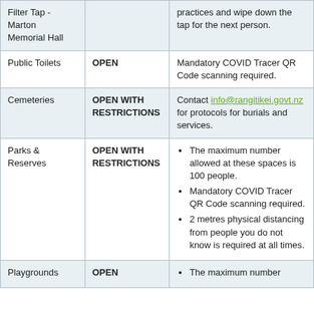| Facility/Service | Status | Notes/Restrictions |
| --- | --- | --- |
| Filter Tap - Marton Memorial Hall |  | practices and wipe down the tap for the next person. |
| Public Toilets | OPEN | Mandatory COVID Tracer QR Code scanning required. |
| Cemeteries | OPEN WITH RESTRICTIONS | Contact info@rangitikei.govt.nz for protocols for burials and services. |
| Parks & Reserves | OPEN WITH RESTRICTIONS | • The maximum number allowed at these spaces is 100 people.
• Mandatory COVID Tracer QR Code scanning required.
• 2 metres physical distancing from people you do not know is required at all times. |
| Playgrounds | OPEN | • The maximum number |